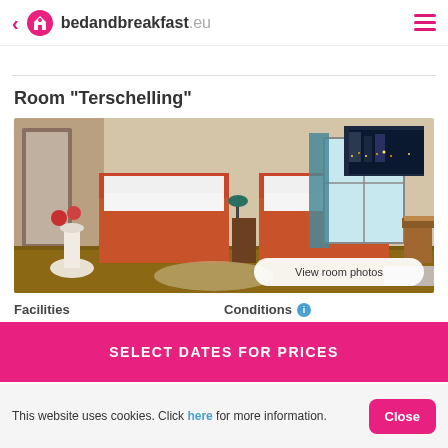< bedandbreakfast.eu
Room "Terschelling"
[Figure (photo): Hotel room photo showing two single beds with red blankets and white pillows, a window with teal curtains, a city-lights painting on the wall, and wooden furniture. Button overlay reads 'View room photos'.]
Facilities
Conditions
SELECT DATES FOR PRICES
This website uses cookies. Click here for more information.